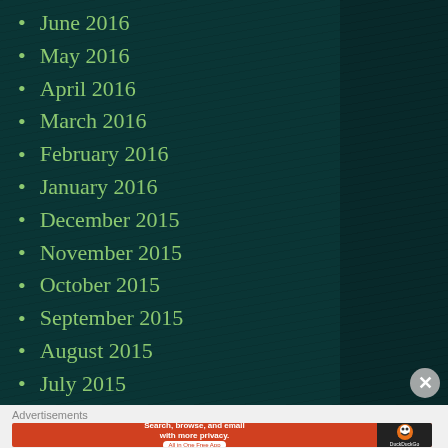June 2016
May 2016
April 2016
March 2016
February 2016
January 2016
December 2015
November 2015
October 2015
September 2015
August 2015
July 2015
June 2015
Advertisements
[Figure (screenshot): DuckDuckGo advertisement banner: Search, browse, and email with more privacy. All in One Free App]